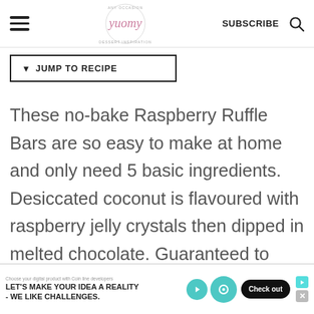SUBSCRIBE [search icon] — yuomy blog header
JUMP TO RECIPE
These no-bake Raspberry Ruffle Bars are so easy to make at home and only need 5 basic ingredients. Desiccated coconut is flavoured with raspberry jelly crystals then dipped in melted chocolate. Guaranteed to wow and satisfy any
[Figure (other): Advertisement banner: 'LET’S MAKE YOUR IDEA A REALITY - WE LIKE CHALLENGES.' with teal logo icons and a 'Check out' CTA button]